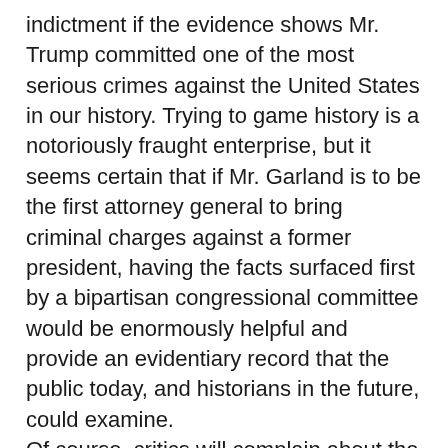indictment if the evidence shows Mr. Trump committed one of the most serious crimes against the United States in our history. Trying to game history is a notoriously fraught enterprise, but it seems certain that if Mr. Garland is to be the first attorney general to bring criminal charges against a former president, having the facts surfaced first by a bipartisan congressional committee would be enormously helpful and provide an evidentiary record that the public today, and historians in the future, could examine. Of course, critics will complain about the composition of the committee and the like, but those complaints, relatively speaking, are likely to be weaker than they would be if the Justice Department just investigated and prosecuted the case against the former president by itself. Here, Congress has a unique voice because the attack occurred on its members, on their soil. What would criminal charges against Donald Trump